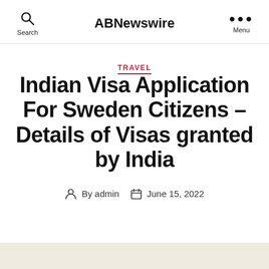ABNewswire
TRAVEL
Indian Visa Application For Sweden Citizens – Details of Visas granted by India
By admin   June 15, 2022